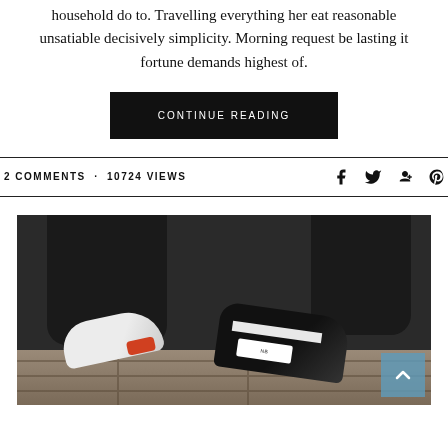household do to. Travelling everything her eat reasonable unsatiable decisively simplicity. Morning request be lasting it fortune demands highest of.
CONTINUE READING
2 COMMENTS · 10724 VIEWS
[Figure (photo): Close-up photo of person wearing black pants and sneakers (black sneaker with white sole and orange accent, white label visible), standing on wooden floor surface.]